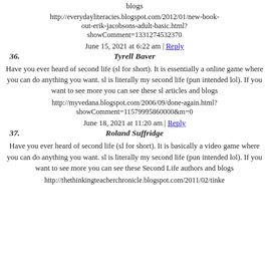blogs
http://everydayliteracies.blogspot.com/2012/01/new-book-out-erik-jacobsons-adult-basic.html?showComment=1331274532370
June 15, 2021 at 6:22 am | Reply
36. Tyrell Baver
Have you ever heard of second life (sl for short). It is essentially a online game where you can do anything you want. sl is literally my second life (pun intended lol). If you want to see more you can see these sl articles and blogs
http://myvedana.blogspot.com/2006/09/done-again.html?showComment=11579995860000&m=0
June 18, 2021 at 11:20 am | Reply
37. Roland Suffridge
Have you ever heard of second life (sl for short). It is basically a video game where you can do anything you want. sl is literally my second life (pun intended lol). If you want to see more you can see these Second Life authors and blogs
http://thethinkingteacherchronicle.blogspot.com/2011/02/tinke